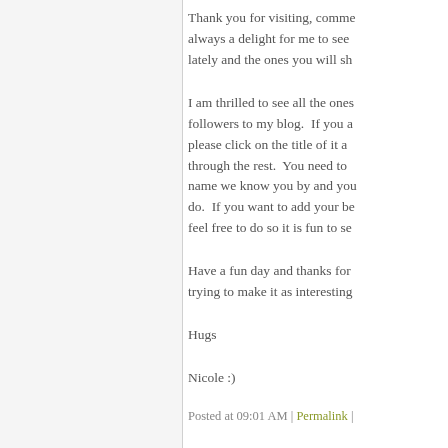Thank you for visiting, comme... always a delight for me to see lately and the ones you will sh...
I am thrilled to see all the ones followers to my blog. If you a... please click on the title of it a... through the rest. You need to name we know you by and you... do. If you want to add your be... feel free to do so it is fun to se...
Have a fun day and thanks for trying to make it as interesting...
Hugs
Nicole :)
Posted at 09:01 AM | Permalink ...